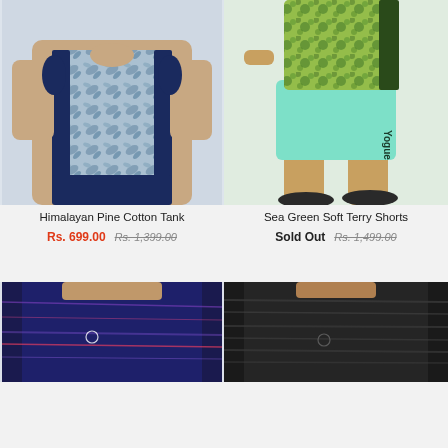[Figure (photo): Man wearing a blue/white tropical print sleeveless tank top with navy side panels, paired with navy shorts]
Himalayan Pine Cotton Tank
Rs. 699.00 Rs. 1,399.00
[Figure (photo): Man wearing mint green/teal terry shorts with Yogue logo and a green floral print vest top, with black sneakers]
Sea Green Soft Terry Shorts
Sold Out Rs. 1,499.00
[Figure (photo): Man wearing a dark navy/purple t-shirt with abstract speed line pattern and small anchor logo]
[Figure (photo): Man wearing a dark charcoal/black t-shirt with subtle horizontal texture pattern and small anchor logo]